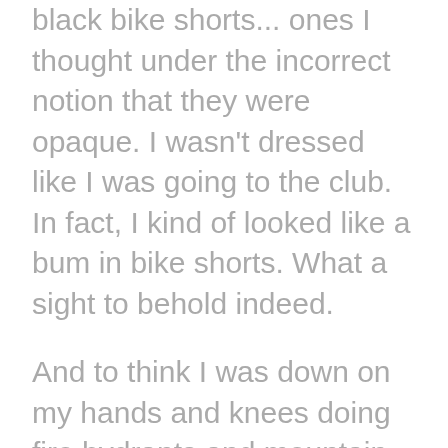black bike shorts... ones I thought under the incorrect notion that they were opaque. I wasn't dressed like I was going to the club. In fact, I kind of looked like a bum in bike shorts. What a sight to behold indeed.
And to think I was down on my hands and knees doing fire hydrants and mountain climbers with see-through shorts. I'll bet that was a sight to behold.